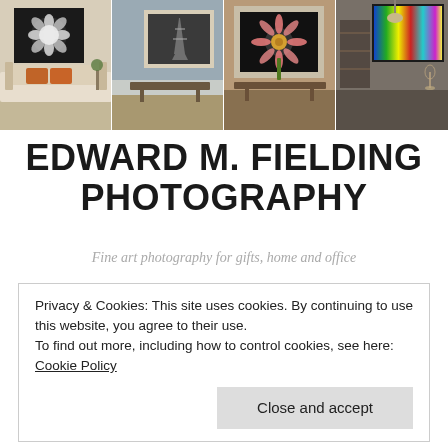[Figure (photo): Banner showing four interior room scenes with framed artwork: (1) white sofa with orange cushions and black-and-white flower photo, (2) blue-grey wall with Eiffel Tower photo in frame, (3) tan wall with gerbera daisy in frame, (4) dark room with colorful abstract art]
EDWARD M. FIELDING PHOTOGRAPHY
Fine art photography for gifts, home and office
Privacy & Cookies: This site uses cookies. By continuing to use this website, you agree to their use.
To find out more, including how to control cookies, see here: Cookie Policy
Close and accept